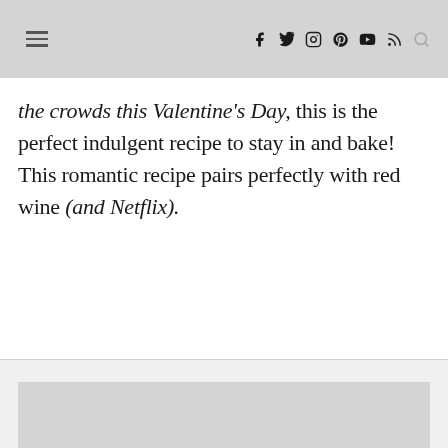Navigation bar with hamburger menu, social icons (Facebook, Twitter, Instagram, Pinterest, YouTube, RSS), and search
the crowds this Valentine's Day, this is the perfect indulgent recipe to stay in and bake! This romantic recipe pairs perfectly with red wine (and Netflix).
[Figure (photo): Partial image placeholder at the bottom of the page, gray rectangle]